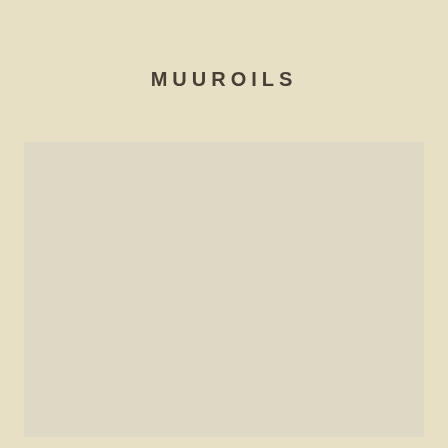MUUROILS
[Figure (illustration): A large rectangular color swatch in a light warm beige/khaki tone, displayed on a cream background]